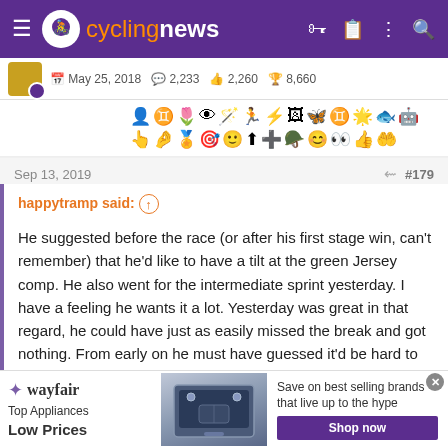cyclingnews
May 25, 2018  2,233  2,280  8,660
[Figure (other): Row of user achievement/badge icons]
Sep 13, 2019	#179
happytramp said: ↑

He suggested before the race (or after his first stage win, can't remember) that he'd like to have a tilt at the green Jersey comp. He also went for the intermediate sprint yesterday. I have a feeling he wants it a lot. Yesterday was great in that regard, he could have just as easily missed the break and got nothing. From early on he must have guessed it'd be hard to win the stage but he still picked up 24
[Figure (other): Wayfair advertisement banner: Top Appliances Low Prices, Save on best selling brands that live up to the hype, Shop now button]